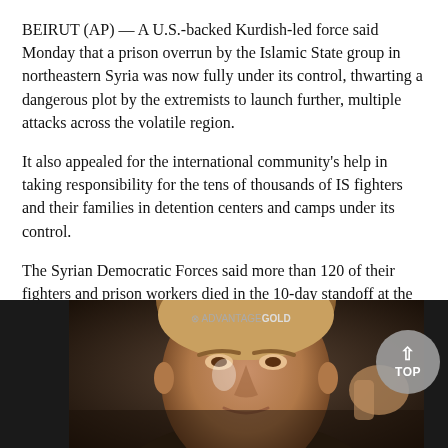BEIRUT (AP) — A U.S.-backed Kurdish-led force said Monday that a prison overrun by the Islamic State group in northeastern Syria was now fully under its control, thwarting a dangerous plot by the extremists to launch further, multiple attacks across the volatile region.
It also appealed for the international community's help in taking responsibility for the tens of thousands of IS fighters and their families in detention centers and camps under its control.
The Syrian Democratic Forces said more than 120 of their fighters and prison workers died in the 10-day standoff at the Gweiran prison, also known as al-Sinaa prison, which houses at least 3,000 Islamic State group detainees. Some 374 IS militants, including the initial attackers, were also killed, it added.
[Figure (photo): Partial view of a man's face at the bottom of the page, with an Advantage Gold advertisement overlay. A 'TOP' scroll-to-top button appears in the bottom right.]